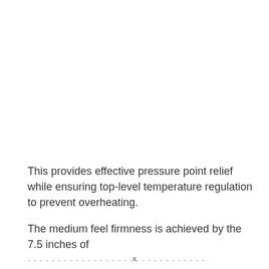This provides effective pressure point relief while ensuring top-level temperature regulation to prevent overheating.
The medium feel firmness is achieved by the 7.5 inches of ...
x